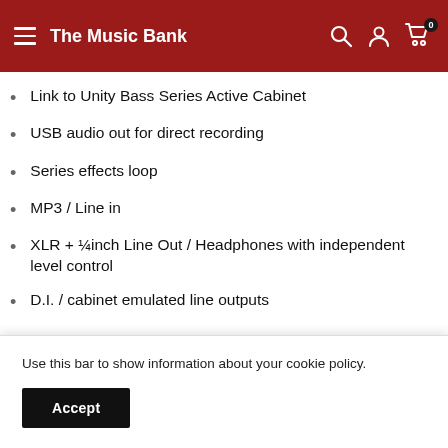The Music Bank
Link to Unity Bass Series Active Cabinet
USB audio out for direct recording
Series effects loop
MP3 / Line in
XLR + ¼inch Line Out / Headphones with independent level control
D.I. / cabinet emulated line outputs
Use this bar to show information about your cookie policy.
Accept